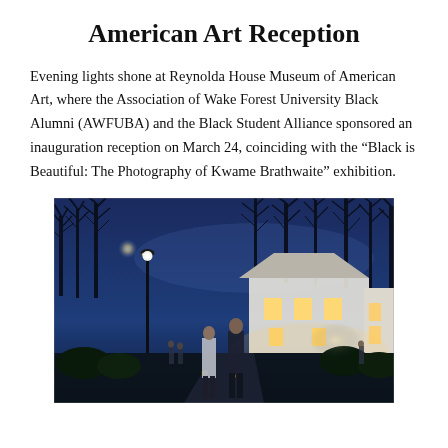American Art Reception
Evening lights shone at Reynolda House Museum of American Art, where the Association of Wake Forest University Black Alumni (AWFUBA) and the Black Student Alliance sponsored an inauguration reception on March 24, coinciding with the “Black is Beautiful: The Photography of Kwame Brathwaite” exhibition.
[Figure (photo): Nighttime exterior photo of Reynolda House Museum of American Art. Two people stand in the foreground on a lit pathway, with a glowing street lamp to the left. The house is illuminated with warm lights, and bare winter trees are silhouetted against a deep blue twilight sky. Other guests are visible near the entrance.]